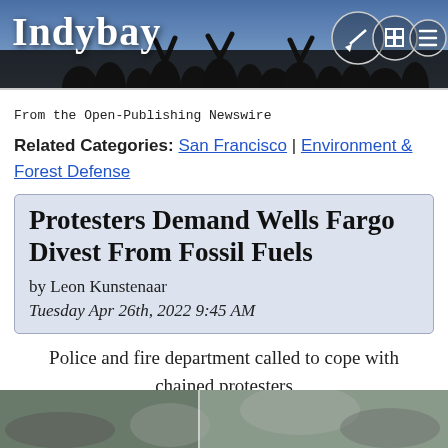Indybay
From the Open-Publishing Newswire
Related Categories: San Francisco | Environment & Forest Defense
Protesters Demand Wells Fargo Divest From Fossil Fuels
by Leon Kunstenaar
Tuesday Apr 26th, 2022 9:45 AM
Police and fire department called to cope with chained protesters
[Figure (photo): Photo strip at bottom showing protesters outside Wells Fargo]